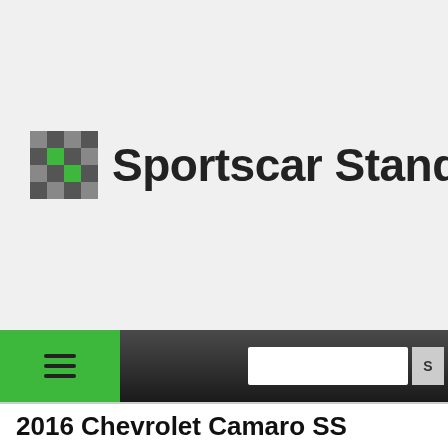[Figure (logo): Sportscar Standings website logo with checkered flag icon and site name text]
2016 Chevrolet Camaro SS